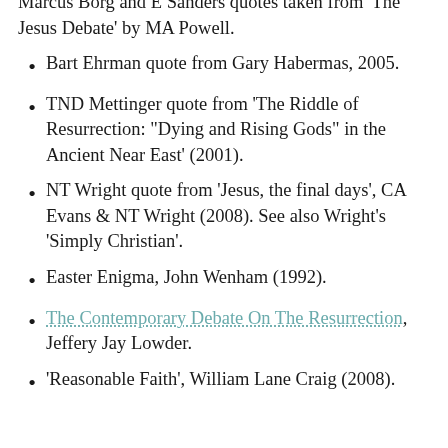Marcus Borg and E Sanders quotes taken from 'The Jesus Debate' by MA Powell.
Bart Ehrman quote from Gary Habermas, 2005.
TND Mettinger quote from 'The Riddle of Resurrection: “Dying and Rising Gods” in the Ancient Near East' (2001).
NT Wright quote from ‘Jesus, the final days’, CA Evans & NT Wright (2008). See also Wright’s ‘Simply Christian’.
Easter Enigma, John Wenham (1992).
The Contemporary Debate On The Resurrection, Jeffery Jay Lowder.
‘Reasonable Faith’, William Lane Craig (2008).